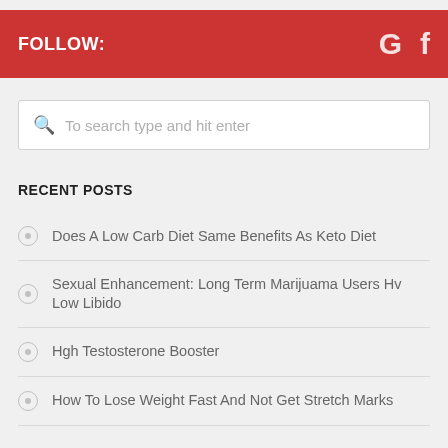FOLLOW:
To search type and hit enter
RECENT POSTS
Does A Low Carb Diet Same Benefits As Keto Diet
Sexual Enhancement: Long Term Marijuama Users Hv Low Libido
Hgh Testosterone Booster
How To Lose Weight Fast And Not Get Stretch Marks